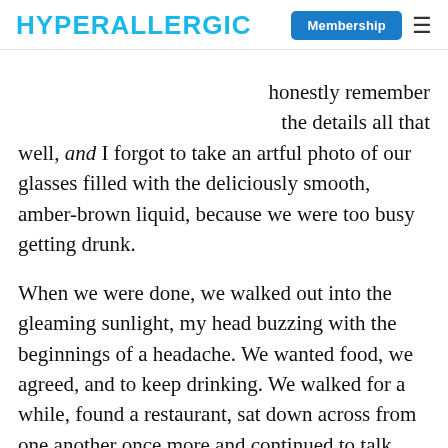HYPERALLERGIC | Membership ☰
honestly remember the details all that well, and I forgot to take an artful photo of our glasses filled with the deliciously smooth, amber-brown liquid, because we were too busy getting drunk.
When we were done, we walked out into the gleaming sunlight, my head buzzing with the beginnings of a headache. We wanted food, we agreed, and to keep drinking. We walked for a while, found a restaurant, sat down across from one another once more and continued to talk